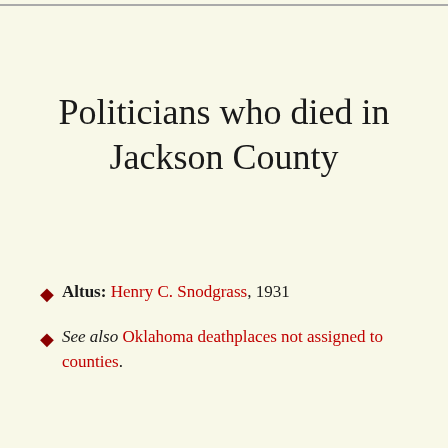Politicians who died in Jackson County
Altus: Henry C. Snodgrass, 1931
See also Oklahoma deathplaces not assigned to counties.